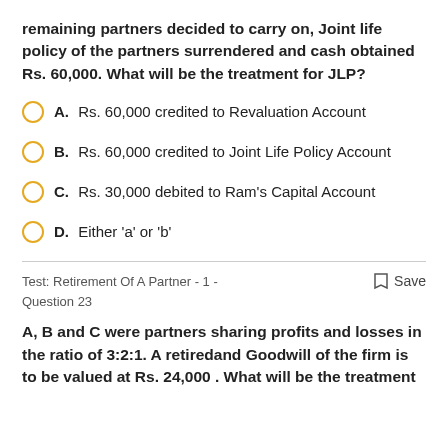remaining partners decided to carry on, Joint life policy of the partners surrendered and cash obtained Rs. 60,000. What will be the treatment for JLP?
A. Rs. 60,000 credited to Revaluation Account
B. Rs. 60,000 credited to Joint Life Policy Account
C. Rs. 30,000 debited to Ram's Capital Account
D. Either 'a' or 'b'
Test: Retirement Of A Partner - 1 - Question 23  Save
A, B and C were partners sharing profits and losses in the ratio of 3:2:1. A retiredand Goodwill of the firm is to be valued at Rs. 24,000 . What will be the treatment